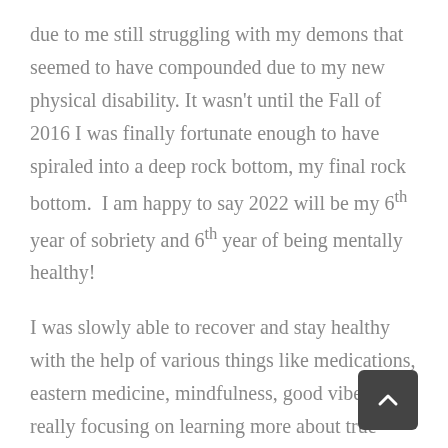due to me still struggling with my demons that seemed to have compounded due to my new physical disability. It wasn't until the Fall of 2016 I was finally fortunate enough to have spiraled into a deep rock bottom, my final rock bottom.  I am happy to say 2022 will be my 6th year of sobriety and 6th year of being mentally healthy!
I was slowly able to recover and stay healthy with the help of various things like medications, eastern medicine, mindfulness, good vibes, and really focusing on learning more about true myself and my emotions. But believe it or not, the number one thing that complimented my life in a healthy way, allowing me to recover, and what sent me on a fulfilling path was...